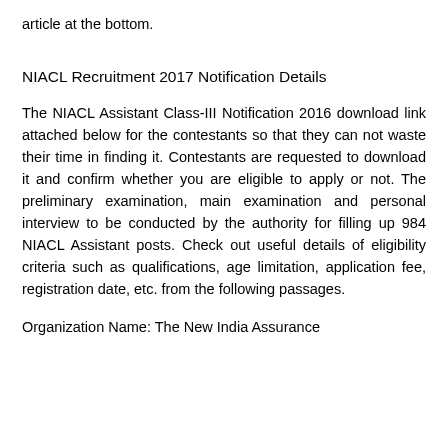article at the bottom.
NIACL Recruitment 2017 Notification Details
The NIACL Assistant Class-III Notification 2016 download link attached below for the contestants so that they can not waste their time in finding it. Contestants are requested to download it and confirm whether you are eligible to apply or not. The preliminary examination, main examination and personal interview to be conducted by the authority for filling up 984 NIACL Assistant posts. Check out useful details of eligibility criteria such as qualifications, age limitation, application fee, registration date, etc. from the following passages.
Organization Name: The New India Assurance